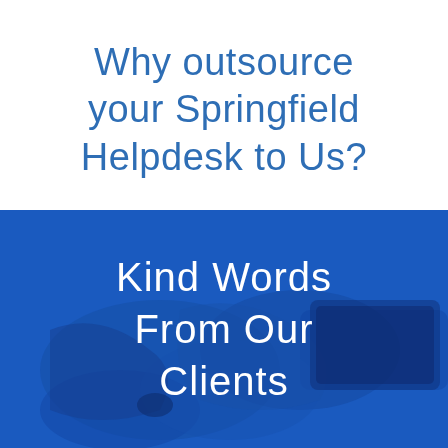Why outsource your Springfield Helpdesk to Us?
[Figure (photo): Blue-tinted photo of hands clasped together on a desk with a tablet device, overlaid with blue color wash]
Kind Words From Our Clients